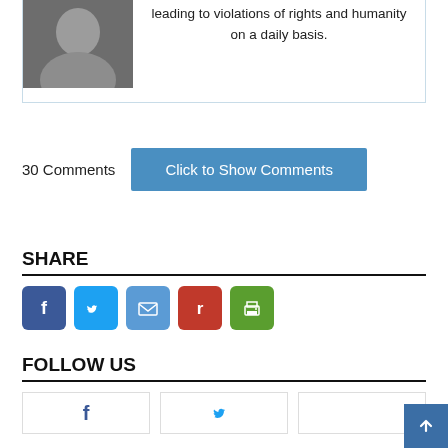leading to violations of rights and humanity on a daily basis.
30 Comments
Click to Show Comments
SHARE
[Figure (infographic): Social share icons: Facebook (blue), Twitter (light blue), Email (blue), Reddit-style r (red), Print (green)]
FOLLOW US
[Figure (infographic): Follow us social media cards row: Facebook, Twitter, and a third partially visible card at bottom of page]